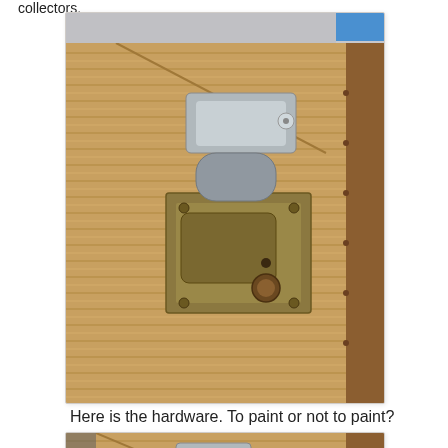collectors.
[Figure (photo): Close-up photograph of a vintage suitcase or trunk showing a metal latch/hardware mechanism on textured tan/brown ribbed fabric surface with leather trim on the right edge.]
Here is the hardware. To paint or not to paint?
[Figure (photo): Close-up photograph of a similar vintage suitcase latch/hardware on ribbed tan/brown surface, showing a smaller metal clasp mechanism from a slightly different angle.]